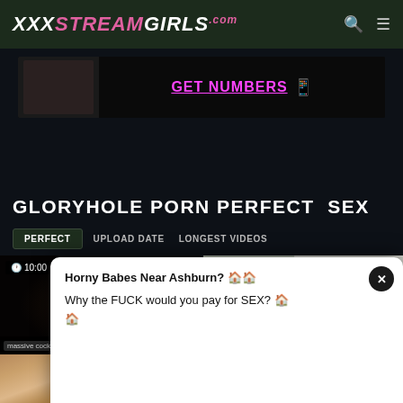XXXSTREAMGIRLS.com
[Figure (screenshot): Ad banner with pink GET NUMBERS text and phone emoji icon]
GLORYHOLE PORN PERFECT SEX
PERFECT | UPLOAD DATE | LONGEST VIDEOS
[Figure (screenshot): Video thumbnail left - dark gloryhole image with 10:00 duration badge]
[Figure (screenshot): Video thumbnail right - Mr. Happy's Glory Hole sign with 27:00 duration badge]
[Figure (screenshot): Popup ad overlay: Horny Babes Near Ashburn? Why the FUCK would you pay for SEX?]
massive cock  black hotties ...  lesbian sex  gloryhole porn